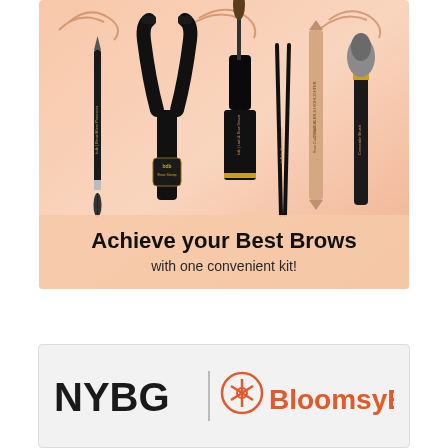[Figure (photo): Advertisement image showing makeup/beauty tools for eyebrows: brow pencil, brow stencil/stamp tool, mascara wand, tweezers, highlighter pencil, and concealer brush from brand 'bdb'. The background is a warm peach/salmon gradient. Below the products are the words 'Achieve your Best Brows' and 'with one convenient kit!']
[Figure (logo): Partnership logo showing 'NYBG' in bold black text, a vertical divider, a circular orange hexagonal icon, and 'BloomsyBox' in orange text on a light gray background.]